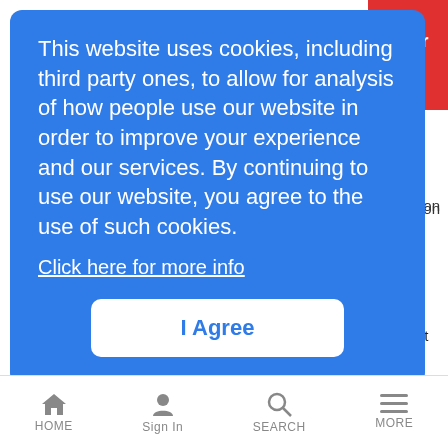[Figure (screenshot): Cookie consent overlay on a news website. Blue rounded rectangle overlay with white text reading: 'This website uses cookies, including third party ones, to allow for analysis of how people use our website in order to improve your experience and our services. By continuing to use our website, you agree to the use of such cookies.' with a 'Click here for more info' link and an 'I Agree' button. Behind the overlay: a red button partially visible top-right, partial article title 'Lucent Gets Grant for 100+ Router', news wire feed date 4/28/2004, article excerpt about Lucent contracts, and a second article title 'Cegetel, Alcatel do 8 Mbit/s Over DSL' with News Wire Feed 4/28/2004 meta. Bottom navigation bar with HOME, Sign In, SEARCH, MORE icons.]